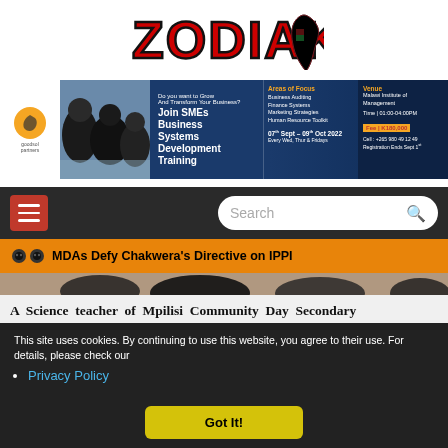[Figure (logo): ZODIAK logo in bold red letters with black outline, with a colorful map silhouette of Malawi to the right]
[Figure (infographic): Advertisement banner for SMEs Business Systems Development Training by goodsol partners. Blue background with photo of students. Text: Join SMEs Business Systems Development Training, Areas of Focus: Business Auditing, Finance Systems, Marketing Strategies, Human Resource Toolkit. Dates: 07th Sept - 09th Oct 2022, Every Wed, Thur & Fridays. Venue: Malawi Institute of Management. Time: 01:00-04:00PM. Fee: K180,000. Cell: +265 980 49 12 49. Registration Ends Sept 1st]
[Figure (screenshot): Navigation bar with red hamburger menu button on dark background and search box]
MDAs Defy Chakwera's Directive on IPPI
[Figure (photo): Partial photo strip showing tops of people's heads]
A Science teacher of Mpilisi Community Day Secondary
This site uses cookies. By continuing to use this website, you agree to their use. For details, please check our
Privacy Policy
Got It!